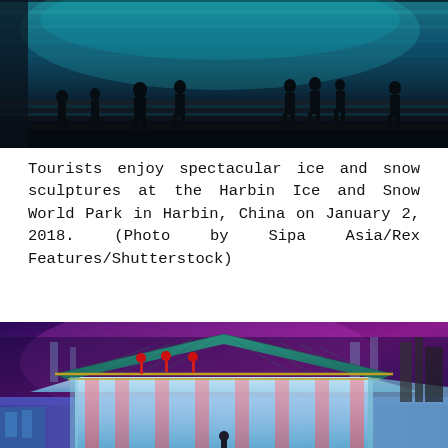[Figure (photo): Silhouettes of tourists standing on steps in front of a large illuminated blue and green glowing ice wall/sculpture at night at the Harbin Ice and Snow World Park.]
Tourists enjoy spectacular ice and snow sculptures at the Harbin Ice and Snow World Park in Harbin, China on January 2, 2018. (Photo by Sipa Asia/Rex Features/Shutterstock)
[Figure (photo): Aerial view of a large ice sculpture shaped like a traditional Chinese palace building with a teal/green roof and pink/blue illuminated ice walls. Surrounding ice sculptures and decorative red trees are visible in the background with purple and colorful lights.]